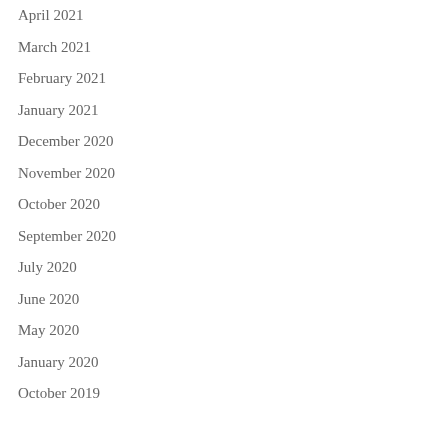April 2021
March 2021
February 2021
January 2021
December 2020
November 2020
October 2020
September 2020
July 2020
June 2020
May 2020
January 2020
October 2019